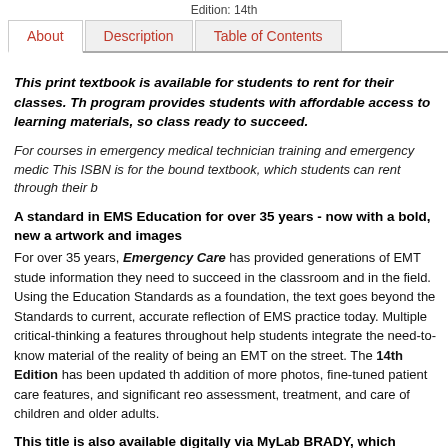Edition: 14th
About | Description | Table of Contents
This print textbook is available for students to rent for their classes. The program provides students with affordable access to learning materials, so class ready to succeed.
For courses in emergency medical technician training and emergency medic This ISBN is for the bound textbook, which students can rent through their b
A standard in EMS Education for over 35 years - now with a bold, new artwork and images
For over 35 years, Emergency Care has provided generations of EMT stude information they need to succeed in the classroom and in the field. Using the Education Standards as a foundation, the text goes beyond the Standards to current, accurate reflection of EMS practice today. Multiple critical-thinking a features throughout help students integrate the need-to-know material of the reality of being an EMT on the street. The 14th Edition has been updated th addition of more photos, fine-tuned patient care features, and significant reo assessment, treatment, and care of children and older adults.
This title is also available digitally via MyLab BRADY, which includes th